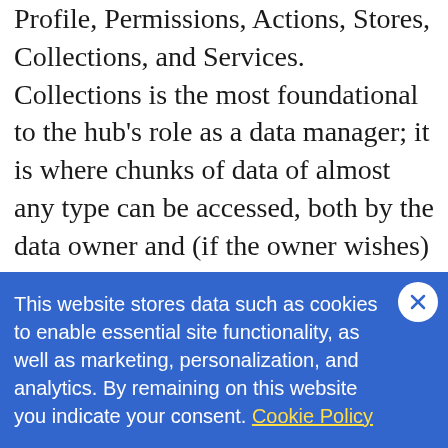Profile, Permissions, Actions, Stores, Collections, and Services. Collections is the most foundational to the hub's role as a data manager; it is where chunks of data of almost any type can be accessed, both by the data owner and (if the owner wishes) by others. Permissions control access to data. Profile describes the identity owner (think a universal, self-hosted gravatar). Services is the basis of a hub's extensibility mechanism. Stores and Actions are for advanced use cases that we'll gloss over in this high-level discussion.
This website stores data such as cookies to enable essential site functionality, as well as marketing, personalization, and analytics. By remaining on this website you indicate your consent. Cookie Policy